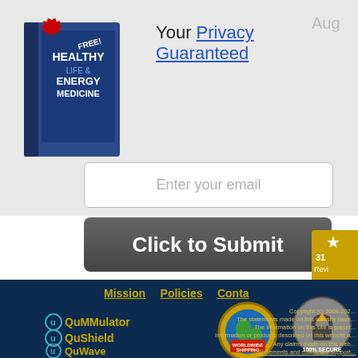[Figure (illustration): Book cover: Healthy Life with Energy Medicine, with FREE starburst badge]
Your Privacy Guaranteed
Aug
[Figure (screenshot): Email input field with placeholder text: Enter your email]
[Figure (screenshot): Dark gray button: Click to Submit]
[Figure (illustration): Star review badge showing 31 Reviews]
Mission   Policies   Contact
[Figure (logo): QuMMulator logo]
[Figure (logo): QuShield logo]
[Figure (logo): QuWave logo]
[Figure (illustration): Worldwide Shipping badge]
[Figure (illustration): 100% Secure badge]
Copyright (c) 2008-202... The statements made on this website have... The information on this site is preser... Information or products described on this website a... Any claims made on this web... Statements and claims are support...